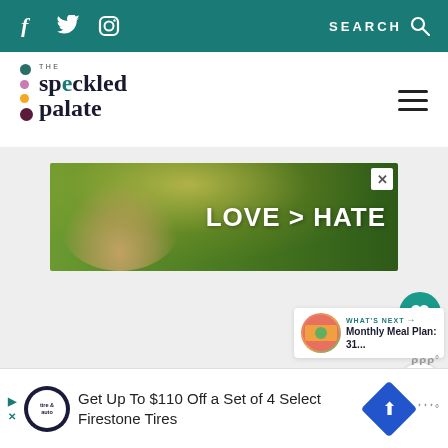f  Twitter  Instagram  SEARCH
[Figure (logo): The Speckled Palate logo with colorful dots and stylized text]
[Figure (photo): Advertisement banner: LOVE > HATE with hands forming a heart shape against green background]
[Figure (infographic): Heart/like button (teal circle with heart icon), like count 72, and share button]
[Figure (infographic): What's Next card showing Monthly Meal Plan: 31... with thumbnail image]
[Figure (screenshot): Bottom advertisement: Get Up To $110 Off a Set of 4 Select Firestone Tires with Tire Auto logo and navigation icon]